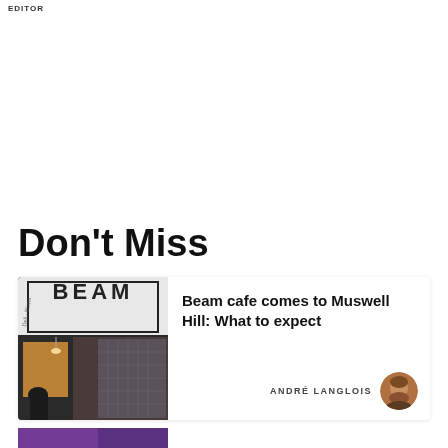EDITOR
Don't Miss
[Figure (photo): Card with photo of BEAM cafe storefront and article title 'Beam cafe comes to Muswell Hill: What to expect' by André Langlois]
[Figure (photo): Partial card with purple/dark image at bottom edge]